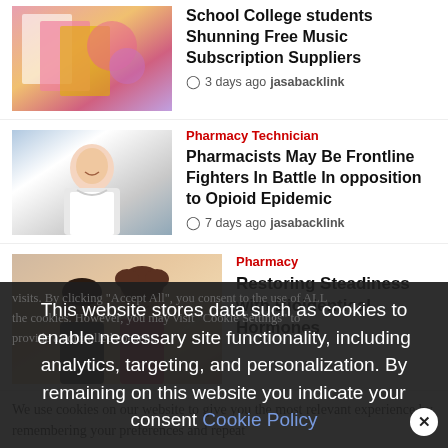[Figure (photo): Colorful magazine covers or books stacked together]
School College students Shunning Free Music Subscription Suppliers
3 days ago  jasabacklink
[Figure (photo): Smiling pharmacy technician in white coat]
Pharmacy Technician
Pharmacists May Be Frontline Fighters In Battle In opposition to Opioid Epidemic
7 days ago  jasabacklink
[Figure (photo): Two women in consultation, one in pink shirt]
Pharmacy
Restoring Steadiness with Bioidentical Hormones
We use cookies on our website to give you the most relevant experience by remembering your preferences and repeat visits. By clicking "Accept All", you consent to the use of ALL the cookies. However, you may visit "Cookie Settings" to provide a controlled consent.
This website stores data such as cookies to enable necessary site functionality, including analytics, targeting, and personalization. By remaining on this website you indicate your consent Cookie Policy